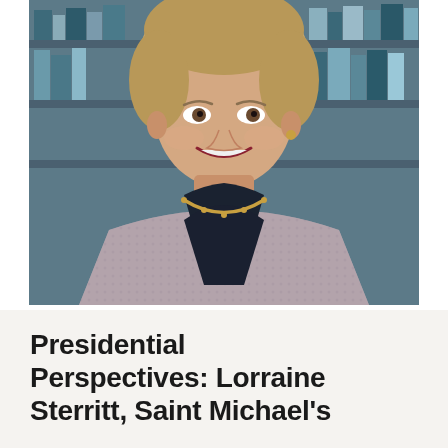[Figure (photo): Professional portrait photograph of Lorraine Sterritt, a woman with short blonde hair wearing a patterned jacket, gold necklace, and gold earrings, smiling in front of a library bookshelf background.]
Presidential Perspectives: Lorraine Sterritt, Saint Michael's